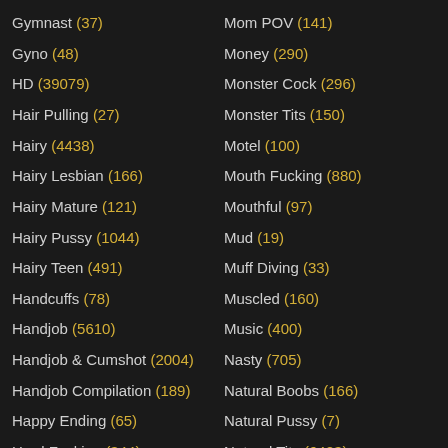Gymnast (37)
Gyno (48)
HD (39079)
Hair Pulling (27)
Hairy (4438)
Hairy Lesbian (166)
Hairy Mature (121)
Hairy Pussy (1044)
Hairy Teen (491)
Handcuffs (78)
Handjob (5610)
Handjob & Cumshot (2004)
Handjob Compilation (189)
Happy Ending (65)
Hard Fucking (344)
Mom POV (141)
Money (290)
Monster Cock (296)
Monster Tits (150)
Motel (100)
Mouth Fucking (880)
Mouthful (97)
Mud (19)
Muff Diving (33)
Muscled (160)
Music (400)
Nasty (705)
Natural Boobs (166)
Natural Pussy (7)
Natural Tits (6423)